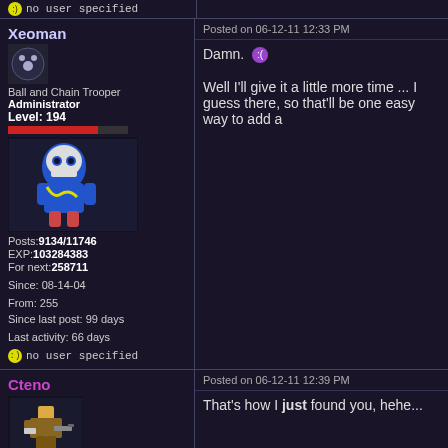no user specified (partial top row)
Xeoman
Ball and Chain Trooper
Administrator
Level: 194
Posts:9134/11746
EXP:103284383
For next:258711
Since: 08-14-04
From: 255
Since last post: 99 days
Last activity: 66 days
no user specified
Posted on 06-12-11 12:33 PM
Damn. 
Well I'll give it a little more time ... I guess there, so that'll be one easy way to add a
Cteno
Super Shotgun
Moderator
Level:
Posts:3409
EXP:15963429
For next:346138
Since: 01-11-05
Posted on 06-12-11 12:39 PM
That's how I just found you, hehe...